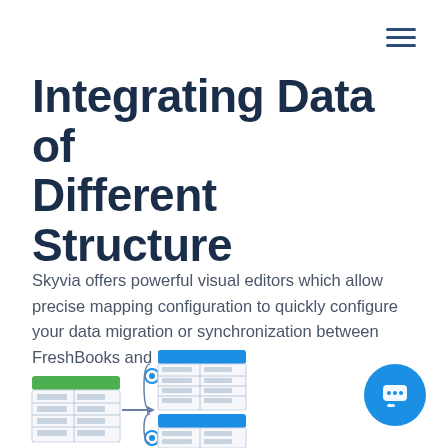≡
Integrating Data of Different Structure
Skyvia offers powerful visual editors which allow precise mapping configuration to quickly configure your data migration or synchronization between FreshBooks and Mailchimp.
[Figure (illustration): Diagram showing data mapping between two table structures with a key icon and arrow indicating data flow from one table to another, illustrating integration of different data structures.]